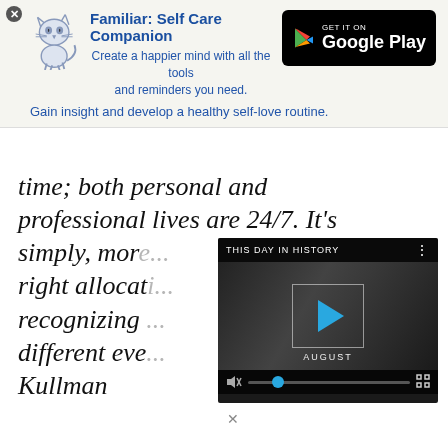[Figure (screenshot): App advertisement banner for 'Familiar: Self Care Companion' with cat icon, Google Play button, and tagline text]
Familiar: Self Care Companion
Create a happier mind with all the tools and reminders you need.
Gain insight and develop a healthy self-love routine.
time; both personal and professional lives are 24/7. It’s simply, more... right allocati... recognizing ... different eve... Kullman
[Figure (screenshot): Video player overlay showing 'THIS DAY IN HISTORY' with play button, AUGUST label, mute icon, progress bar and fullscreen button]